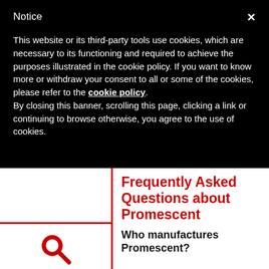Notice
This website or its third-party tools use cookies, which are necessary to its functioning and required to achieve the purposes illustrated in the cookie policy. If you want to know more or withdraw your consent to all or some of the cookies, please refer to the cookie policy.
By closing this banner, scrolling this page, clicking a link or continuing to browse otherwise, you agree to the use of cookies.
Frequently Asked Questions about Promescent
Who manufactures Promescent?